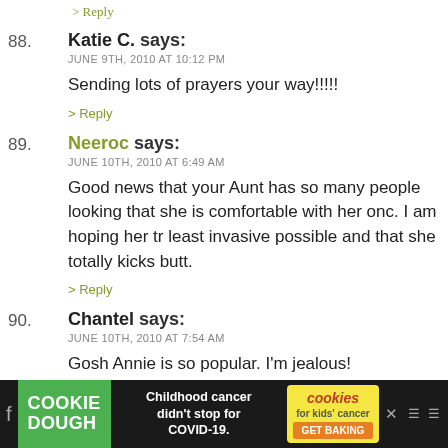> Reply
88. Katie C. says:
JUNE 9TH, 2010 AT 10:12 PM
Sending lots of prayers your way!!!!!
> Reply
89. Neeroc says:
JUNE 10TH, 2010 AT 6:49 AM
Good news that your Aunt has so many people looking that she is comfortable with her onc. I am hoping her tr least invasive possible and that she totally kicks butt.
> Reply
90. Chantel says:
JUNE 10TH, 2010 AT 7:54 AM
Gosh Annie is so popular. I'm jealous!
I'm keeping your Aunt in my prayers Heather!!
[Figure (infographic): Advertisement banner: Cookie Dough - Childhood cancer didn't stop for COVID-19. Cookies for kids cancer GET BAKING.]